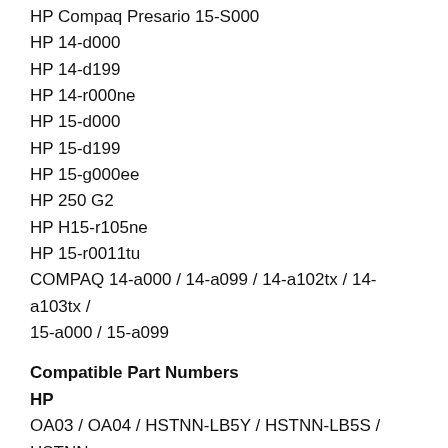HP Compaq Presario 15-S000
HP 14-d000
HP 14-d199
HP 14-r000ne
HP 15-d000
HP 15-d199
HP 15-g000ee
HP 250 G2
HP H15-r105ne
HP 15-r0011tu
COMPAQ 14-a000/14-a099/14-a102tx/14-a103tx/15-a000/15-a099
Compatible Part Numbers
HP
OA03/OA04/HSTNN-LB5Y/HSTNN-LB5S/HSTNN-PB5Y/HSTNN-IB5Y HSTNN-PB5S/TPN-F113/TPN-